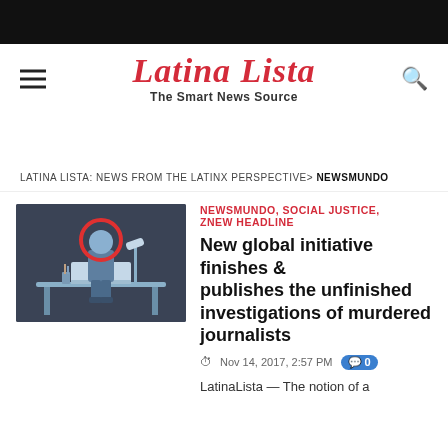Latina Lista — The Smart News Source
LATINA LISTA: NEWS FROM THE LATINX PERSPECTIVE > NEWSMUNDO
[Figure (illustration): Illustration of a journalist sitting at a desk with a laptop, with a red circle/halo around their head, on a dark background]
NEWSMUNDO, SOCIAL JUSTICE, ZNEW HEADLINE
New global initiative finishes & publishes the unfinished investigations of murdered journalists
Nov 14, 2017, 2:57 PM  0
LatinaLista — The notion of a